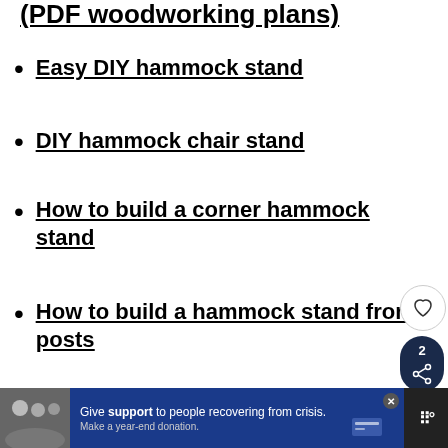(PDF woodworking plans)
Easy DIY hammock stand
DIY hammock chair stand
How to build a corner hammock stand
How to build a hammock stand from posts
[Figure (infographic): Social sharing sidebar with heart/like button and share button showing count of 2, plus a What's Next widget for Front Door Upgrade Ideas]
[Figure (infographic): Advertisement banner: Give support to people recovering from crisis. Make a year-end donation. With family photo and donation button.]